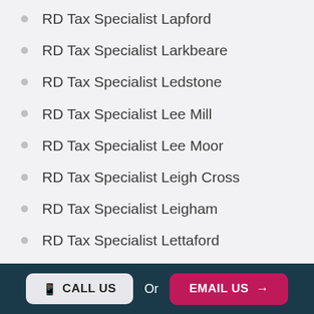RD Tax Specialist Lapford
RD Tax Specialist Larkbeare
RD Tax Specialist Ledstone
RD Tax Specialist Lee Mill
RD Tax Specialist Lee Moor
RD Tax Specialist Leigh Cross
RD Tax Specialist Leigham
RD Tax Specialist Lettaford
RD Tax Specialist Leusdon
RD Tax Specialist Lewdown
CALL US  Or  EMAIL US →